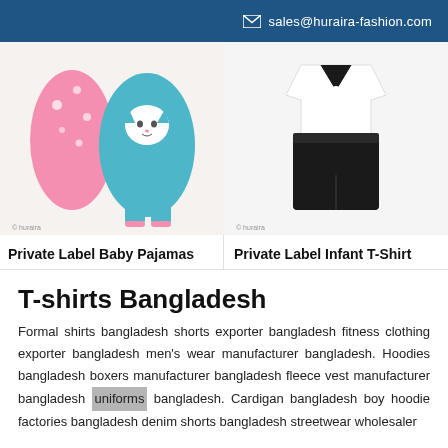sales@huraira-fashion.com
[Figure (photo): Baby pajamas/rompers in pink and teal with cat design]
Private Label Baby Pajamas
[Figure (photo): Infant outfit with white shirt and black pants]
Private Label Infant T-Shirt
T-shirts Bangladesh
Formal shirts bangladesh shorts exporter bangladesh fitness clothing exporter bangladesh men's wear manufacturer bangladesh. Hoodies bangladesh boxers manufacturer bangladesh fleece vest manufacturer bangladesh uniforms bangladesh. Cardigan bangladesh boy hoodie factories bangladesh denim shorts bangladesh streetwear wholesaler